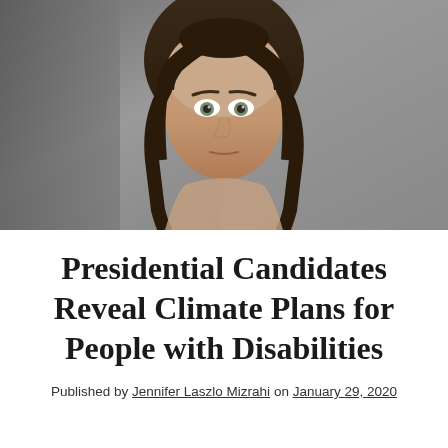[Figure (photo): Close-up portrait of a young girl with braided hair looking directly at camera, in front of a stone/concrete wall background. Serious expression.]
Presidential Candidates Reveal Climate Plans for People with Disabilities
Published by Jennifer Laszlo Mizrahi on January 29, 2020